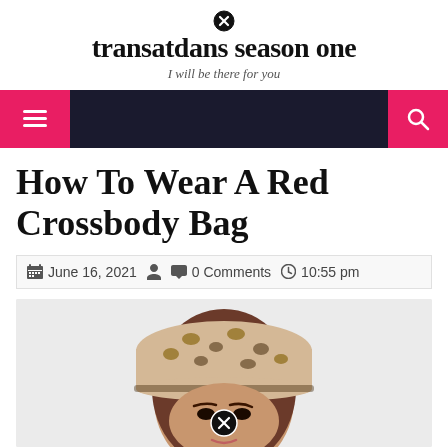transatdans season one — I will be there for you
[Figure (screenshot): Navigation bar with hamburger menu button on left (pink background) and search icon button on right (pink background), dark navy background.]
How To Wear A Red Crossbody Bag
June 16, 2021   0 Comments   10:55 pm
[Figure (photo): Woman wearing a leopard print bucket hat, with brown hair and bold eye makeup, cropped at chin level. A close/cancel circle icon overlays the bottom center of the image.]